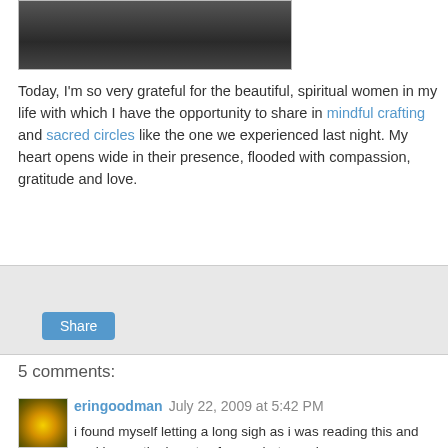[Figure (photo): Partial photo of people, dark tones, cropped at top]
Today, I'm so very grateful for the beautiful, spiritual women in my life with which I have the opportunity to share in mindful crafting and sacred circles like the one we experienced last night. My heart opens wide in their presence, flooded with compassion, gratitude and love.
Share
5 comments:
eringoodman July 22, 2009 at 5:42 PM
i found myself letting a long sigh as i was reading this and soaking up the beauty of your photographs.

thank you so much for sharing they beauty of your world!!!